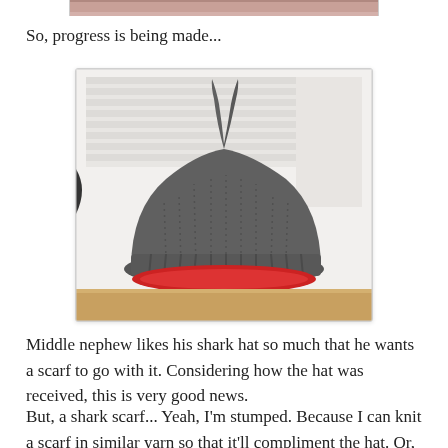[Figure (photo): Partial top of a photograph visible at the very top of the page, showing a dark reddish-brown blurred background.]
So, progress is being made...
[Figure (photo): A gray knitted shark hat with a dorsal fin on top, sitting on a wooden surface in front of white window blinds. The hat has a red/fabric lining visible at the brim.]
Middle nephew likes his shark hat so much that he wants a scarf to go with it. Considering how the hat was received, this is very good news.
But, a shark scarf... Yeah, I'm stumped. Because I can knit a scarf in similar yarn so that it'll compliment the hat. Or, I can find a shark scarf? I really, really don't know what to do with